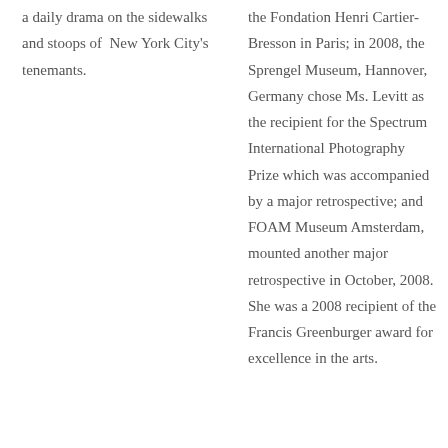a daily drama on the sidewalks and stoops of  New York City's tenemants.
the Fondation Henri Cartier-Bresson in Paris; in 2008, the Sprengel Museum, Hannover, Germany chose Ms. Levitt as the recipient for the Spectrum International Photography Prize which was accompanied by a major retrospective; and FOAM Museum Amsterdam, mounted another major retrospective in October, 2008. She was a 2008 recipient of the Francis Greenburger award for excellence in the arts.